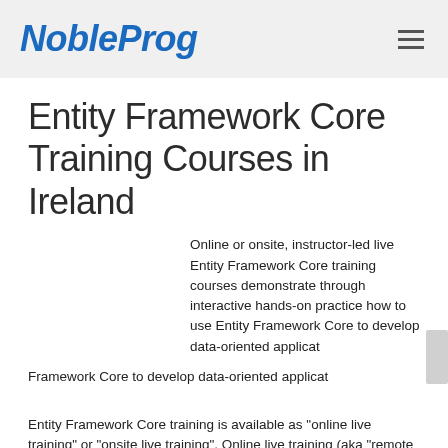NobleProg
Entity Framework Core Training Courses in Ireland
Online or onsite, instructor-led live Entity Framework Core training courses demonstrate through interactive hands-on practice how to use Entity Framework Core to develop data-oriented applicat
Entity Framework Core training is available as "online live training" or "onsite live training". Online live training (aka "remote live training") is carried out by way of an